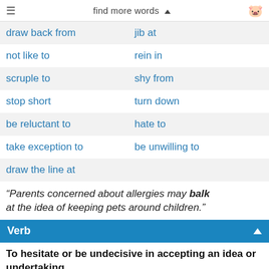find more words
draw back from | jib at
not like to | rein in
scruple to | shy from
stop short | turn down
be reluctant to | hate to
take exception to | be unwilling to
draw the line at
“Parents concerned about allergies may balk at the idea of keeping pets around children.”
Verb
To hesitate or be undecisive in accepting an idea or undertaking
hesitate | waver